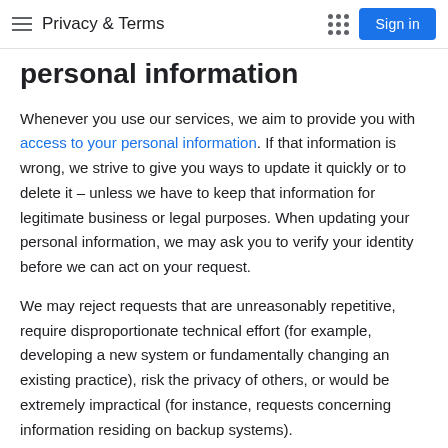Privacy & Terms
personal information
Whenever you use our services, we aim to provide you with access to your personal information. If that information is wrong, we strive to give you ways to update it quickly or to delete it – unless we have to keep that information for legitimate business or legal purposes. When updating your personal information, we may ask you to verify your identity before we can act on your request.
We may reject requests that are unreasonably repetitive, require disproportionate technical effort (for example, developing a new system or fundamentally changing an existing practice), risk the privacy of others, or would be extremely impractical (for instance, requests concerning information residing on backup systems).